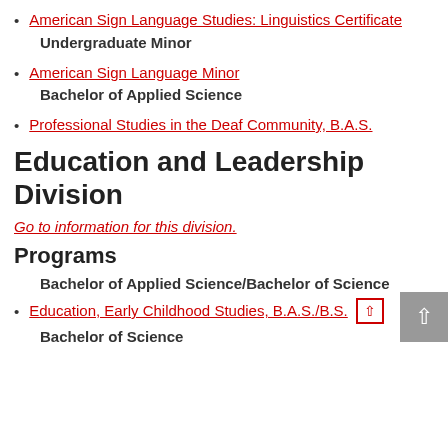American Sign Language Studies: Linguistics Certificate
Undergraduate Minor
American Sign Language Minor
Bachelor of Applied Science
Professional Studies in the Deaf Community, B.A.S.
Education and Leadership Division
Go to information for this division.
Programs
Bachelor of Applied Science/Bachelor of Science
Education, Early Childhood Studies, B.A.S./B.S.
Bachelor of Science